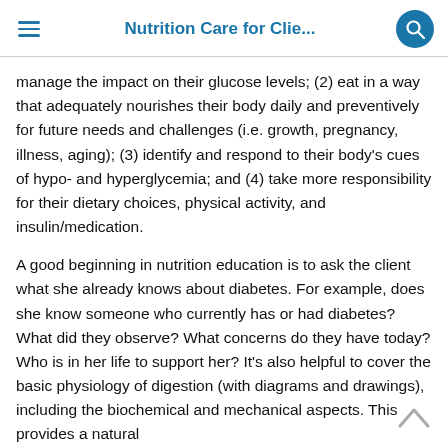Nutrition Care for Clie...
manage the impact on their glucose levels; (2) eat in a way that adequately nourishes their body daily and preventively for future needs and challenges (i.e. growth, pregnancy, illness, aging); (3) identify and respond to their body's cues of hypo- and hyperglycemia; and (4) take more responsibility for their dietary choices, physical activity, and insulin/medication.
A good beginning in nutrition education is to ask the client what she already knows about diabetes. For example, does she know someone who currently has or had diabetes? What did they observe? What concerns do they have today? Who is in her life to support her? It's also helpful to cover the basic physiology of digestion (with diagrams and drawings), including the biochemical and mechanical aspects. This provides a natural